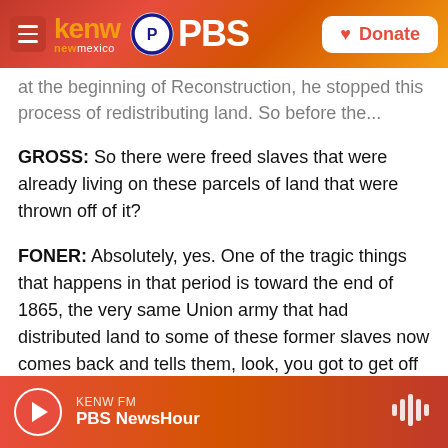KENW new mexico PBS — Donate
at the beginning of Reconstruction, he stopped this process of redistributing land. So before the...
GROSS: So there were freed slaves that were already living on these parcels of land that were thrown off of it?
FONER: Absolutely, yes. One of the tragic things that happens in that period is toward the end of 1865, the very same Union army that had distributed land to some of these former slaves now comes back and tells them, look, you got to get off the land now. President Johnson has restored it to the former owners. You can stick
KENW FM — PBS NewsHour